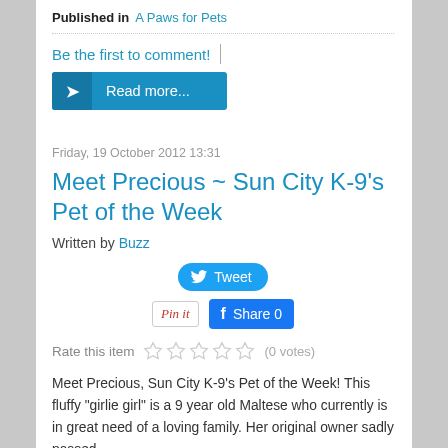Published in  A Paws for Pets
Be the first to comment!
Read more...
Friday, 19 October 2012 13:31
Meet Precious ~ Sun City K-9's Pet of the Week
Written by Buzz
Tweet
Pin it  Share 0
Rate this item  (0 votes)
Meet Precious, Sun City K-9's Pet of the Week! This fluffy "girlie girl" is a 9 year old Maltese who currently is in great need of a loving family. Her original owner sadly passed